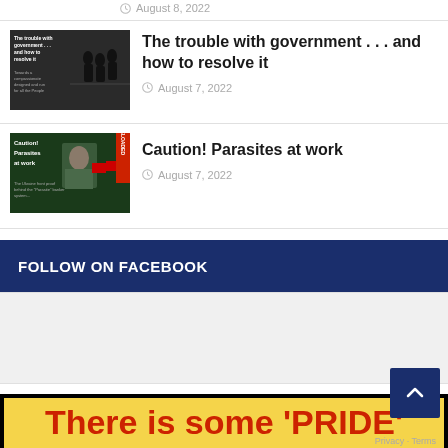August 8, 2022
[Figure (photo): Thumbnail image for article about government with silhouette figures and text overlay]
The trouble with government . . . and how to resolve it
August 7, 2022
[Figure (photo): Thumbnail image for Caution! Parasites at work article with American flags and soldier image, RELOADED badge]
Caution! Parasites at work
August 7, 2022
FOLLOW ON FACEBOOK
[Figure (other): Facebook widget placeholder area with light gray background]
[Figure (photo): Banner image with yellow background and red bold text reading There is some 'PRIDE']
Privacy · Terms